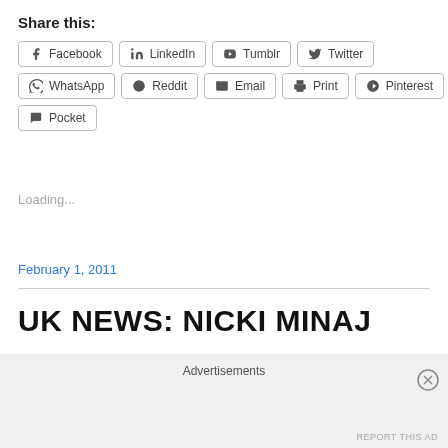Share this:
Facebook
LinkedIn
Tumblr
Twitter
WhatsApp
Reddit
Email
Print
Pinterest
Pocket
Loading...
February 1, 2011
UK NEWS: NICKI MINAJ
Advertisements